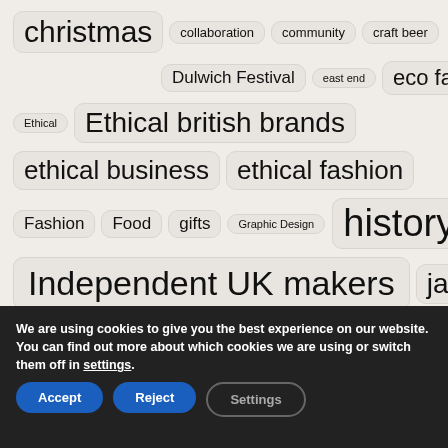christmas
collaboration
community
craft beer
Dulwich Festival
east end
eco fashion
Ethical
Ethical british brands
ethical business
ethical fashion
Fashion
Food
gifts
Graphic Design
history
Independent UK makers
jane
julia
We are using cookies to give you the best experience on our website.
You can find out more about which cookies we are using or switch them off in settings.
Accept
Reject
Settings